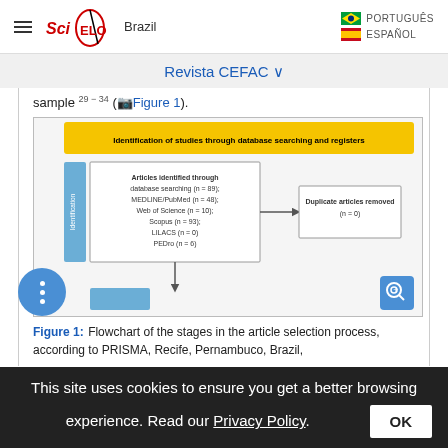SciELO Brazil | PORTUGUÊS | ESPAÑOL
Revista CEFAC
sample 29-34 ( Figure 1).
[Figure (flowchart): PRISMA flowchart showing identification of studies through database searching and registers, with articles identified through database searching and duplicate articles removed]
Figure 1: Flowchart of the stages in the article selection process, according to PRISMA, Recife, Pernambuco, Brazil,
This site uses cookies to ensure you get a better browsing experience. Read our Privacy Policy. OK